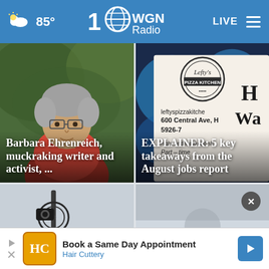85° WGN Radio LIVE
[Figure (photo): Barbara Ehrenreich headshot - woman with short gray hair and glasses, wearing red top, outdoors]
Barbara Ehrenreich, muckraking writer and activist, ...
[Figure (photo): Lefty's Pizza Kitchen sign with text: leftyspizzakitchen, 600 Central Ave, H[ighland Park], 5926-7[xxxx], night and weekend sh[ift], Part-time]
EXPLAINER: 5 key takeaways from the August jobs report
[Figure (photo): Bicycle or vehicle close-up, dark background with blue/gray tones]
[Figure (photo): Partially visible card with close button (X)]
Book a Same Day Appointment Hair Cuttery